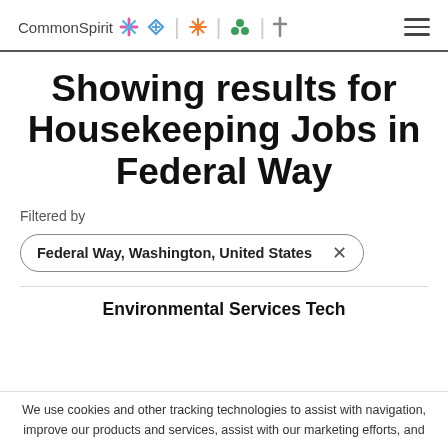CommonSpirit [logo with icons]
Showing results for Housekeeping Jobs in Federal Way
Filtered by
Federal Way, Washington, United States ×
Environmental Services Tech
We use cookies and other tracking technologies to assist with navigation, improve our products and services, assist with our marketing efforts, and